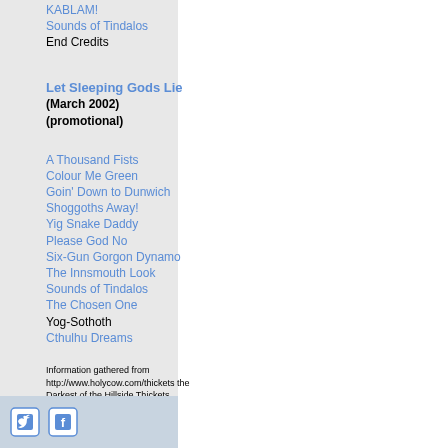KABLAM!
Sounds of Tindalos
End Credits
Let Sleeping Gods Lie
(March 2002)
(promotional)
A Thousand Fists
Colour Me Green
Goin' Down to Dunwich
Shoggoths Away!
Yig Snake Daddy
Please God No
Six-Gun Gorgon Dynamo
The Innsmouth Look
Sounds of Tindalos
The Chosen One
Yog-Sothoth
Cthulhu Dreams
Information gathered from http://www.holycow.com/thickets the Darkest of the Hillside Thickets official homepage.
[Figure (other): Twitter and Facebook social media icons]